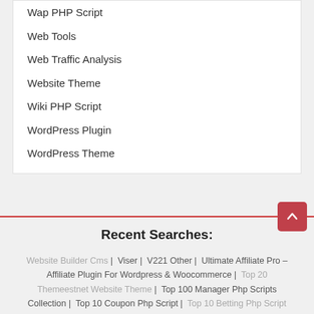Wap PHP Script
Web Tools
Web Traffic Analysis
Website Theme
Wiki PHP Script
WordPress Plugin
WordPress Theme
Recent Searches:
Website Builder Cms | Viser | V221 Other | Ultimate Affiliate Pro – Affiliate Plugin For Wordpress & Woocommerce | Top 20 Themeestnet Website Theme | Top 100 Manager Php Scripts Collection | Top 10 Coupon Php Script | Top 10 Betting Php Script | Smart School | Seo Tool | Repository | Rebirth Php Scripts